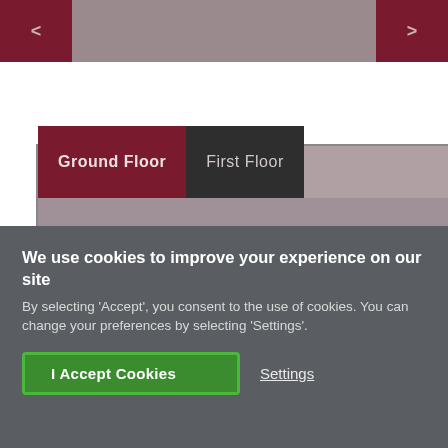[Figure (screenshot): Website navigation bar with left arrow button (dark red) and right arrow button (dark red) on a grey-rose background]
[Figure (screenshot): Floor plan viewer with 'Ground Floor' and 'First Floor' tabs. Ground Floor tab is active (dark red). A partial floor plan diagram is visible.]
We use cookies to improve your experience on our site
By selecting 'Accept', you consent to the use of cookies. You can change your preferences by selecting 'Settings'.
I Accept Cookies
Settings